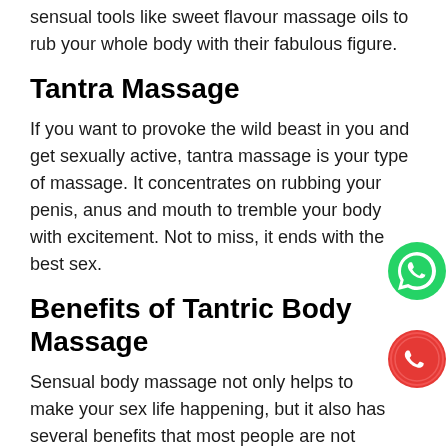sensual tools like sweet flavour massage oils to rub your whole body with their fabulous figure.
Tantra Massage
If you want to provoke the wild beast in you and get sexually active, tantra massage is your type of massage. It concentrates on rubbing your penis, anus and mouth to tremble your body with excitement. Not to miss, it ends with the best sex.
Benefits of Tantric Body Massage
Sensual body massage not only helps to make your sex life happening, but it also has several benefits that most people are not well-aware of. This unique form of massage therapy is ideal, especially for those lacking sexual arousal due to work stress in a city like Bangalore.
Here are some of the top benefits of erotic or tantric